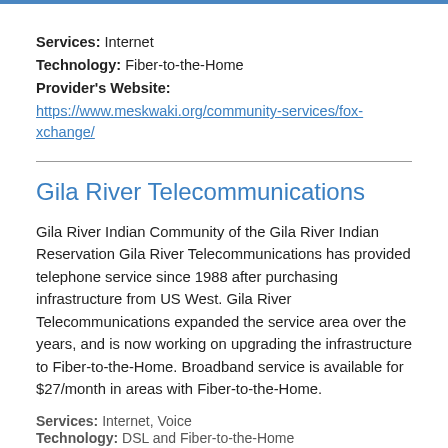Services: Internet
Technology: Fiber-to-the-Home
Provider's Website:
https://www.meskwaki.org/community-services/fox-xchange/
Gila River Telecommunications
Gila River Indian Community of the Gila River Indian Reservation Gila River Telecommunications has provided telephone service since 1988 after purchasing infrastructure from US West. Gila River Telecommunications expanded the service area over the years, and is now working on upgrading the infrastructure to Fiber-to-the-Home. Broadband service is available for $27/month in areas with Fiber-to-the-Home.
Services: Internet, Voice
Technology: DSL and Fiber-to-the-Home